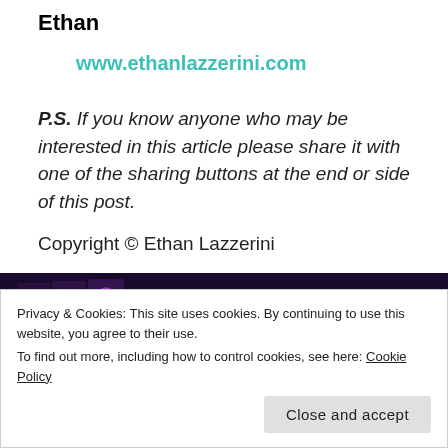Ethan
www.ethanlazzerini.com
P.S. If you know anyone who may be interested in this article please share it with one of the sharing buttons at the end or side of this post.
Copyright © Ethan Lazzerini
[Figure (other): Crystal Healing BOX SET book cover with dark purple background and crystal leaf designs]
Crystal Healing BOX SET
Privacy & Cookies: This site uses cookies. By continuing to use this website, you agree to their use. To find out more, including how to control cookies, see here: Cookie Policy
Close and accept